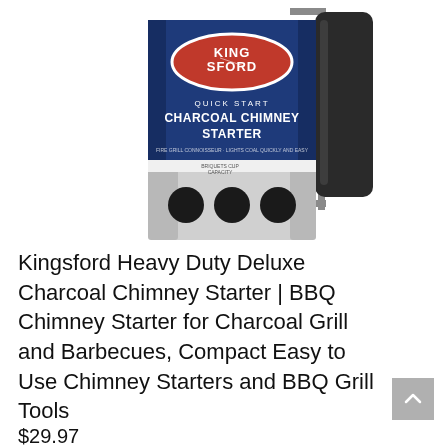[Figure (photo): Kingsford Quick Start Charcoal Chimney Starter product photo showing the chimney starter with a blue label reading KINGSFORD QUICK START CHARCOAL CHIMNEY STARTER, silver metal body with ventilation holes, and a black handle on the right side.]
Kingsford Heavy Duty Deluxe Charcoal Chimney Starter | BBQ Chimney Starter for Charcoal Grill and Barbecues, Compact Easy to Use Chimney Starters and BBQ Grill Tools
$29.97